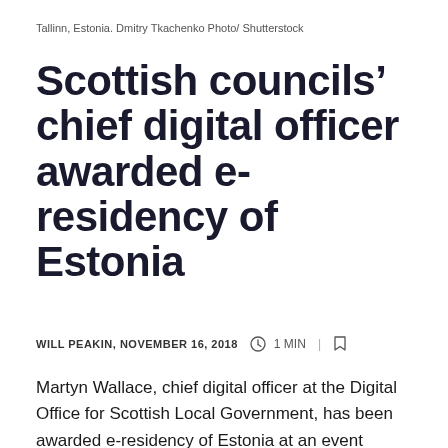Tallinn, Estonia. Dmitry Tkachenko Photo/ Shutterstock
Scottish councils' chief digital officer awarded e-residency of Estonia
WILL PEAKIN, NOVEMBER 16, 2018  1 MIN
Martyn Wallace, chief digital officer at the Digital Office for Scottish Local Government, has been awarded e-residency of Estonia at an event celebrating the republic's 100th anniversary.